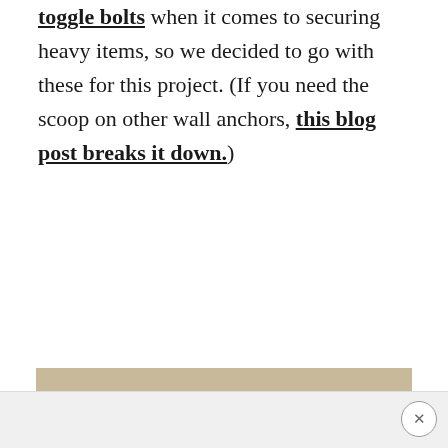toggle bolts when it comes to securing heavy items, so we decided to go with these for this project. (If you need the scoop on other wall anchors, this blog post breaks it down.)
[Figure (photo): A toggle bolt (white plastic anchor with metal rod) and a metal screw/nail laid diagonally on a light wood grain surface]